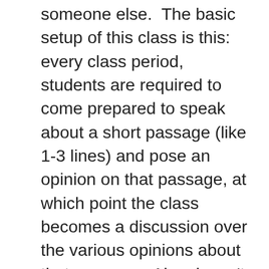someone else.  The basic setup of this class is this: every class period, students are required to come prepared to speak about a short passage (like 1-3 lines) and pose an opinion on that passage, at which point the class becomes a discussion over the various opinions about that passage.  Alex doesn't seem to prepare for class at all because, honestly, he doesn't need to since the entire discussion is dictated by the passages students pick and the opinions formed about them.  The workload is very different from most other sections with the blog posts and C3 experiment (explained below), but neither the syllabus nor Alex himself were ever very clear about requirements, so there was a lot of student discussion outside of class just trying to figure out what was required from us to get a good grade, which was insanely frustrating.  I felt like this class was a waste of my 2 hours 2x/wk, but I know there were students in the class that really enjoyed it so